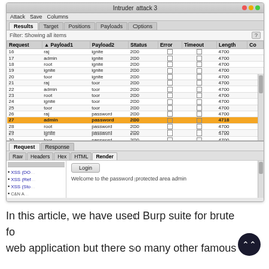[Figure (screenshot): Burp Suite Intruder attack 3 window showing a results table with columns Request, Payload1, Payload2, Status, Error, Timeout, Length, Co. Rows 16-34 visible with credentials like raj/admin/root/ignite/toor as Payload1 and ignite/toor/password/abcd as Payload2, all status 200, length 4700 except row 27 (admin/password) highlighted in orange with length 4718. Bottom panel shows Request/Response tabs with Raw/Headers/Hex/HTML/Render subtabs, XSS list on left, and Login button with 'Welcome to the password protected area admin' text.]
In this article, we have used Burp suite for brute fo web application but there so many other famous